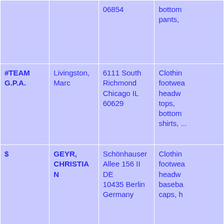| (col1) | (col2) | (col3) | (col4) |
| --- | --- | --- | --- |
|  |  | 06854 | bottom pants, |
| #TEAM G.P.A. | Livingston, Marc | 6111 South Richmond Chicago IL 60629 | Clothing footwear headwear tops, bottom shirts, ... |
| $ | GEYR, CHRISTIAN | Schönhauser Allee 156 II DE 10435 Berlin Germany | Clothing footwear headwear baseball caps, h... |
| & | MUSIC SALES LIMITED | 14-15 Berners Street GB London W1T 3LJ United Kingdom | Clothing shirts, sweater sweats vests, h ...  |